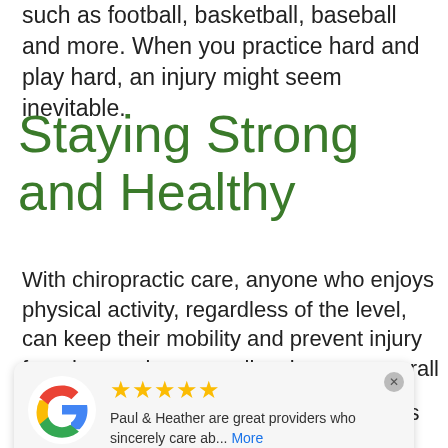such as football, basketball, baseball and more. When you practice hard and play hard, an injury might seem inevitable.
Staying Strong and Healthy
With chiropractic care, anyone who enjoys physical activity, regardless of the level, can keep their mobility and prevent injury from happening, as well as improve overall performance.
Dr. Paul has trained extensively in sports
[Figure (screenshot): Google review popup showing 5 gold stars, text 'Paul & Heather are great providers who sincerely care ab... More', reviewer name 'Abree Ensey', Google logo on the left, close button top right]
care including exercises that help you recover or